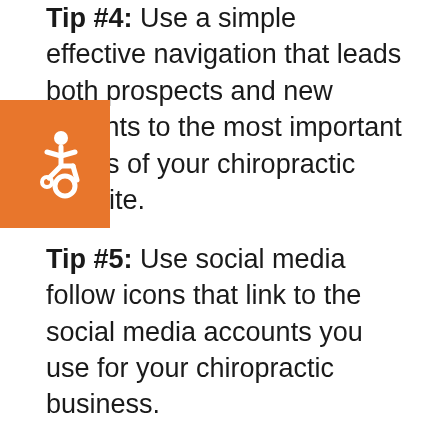Tip #4: Use a simple effective navigation that leads both prospects and new patients to the most important pages of your chiropractic website.
[Figure (illustration): Orange square accessibility icon with wheelchair user symbol in white]
Tip #5: Use social media follow icons that link to the social media accounts you use for your chiropractic business.
Tip #6: Steer clear of stock photography and only use professional photography.
Tip #7: Use a clear and unique value proposition.
For example, we help (your ideal patient) and/or treat the most common...